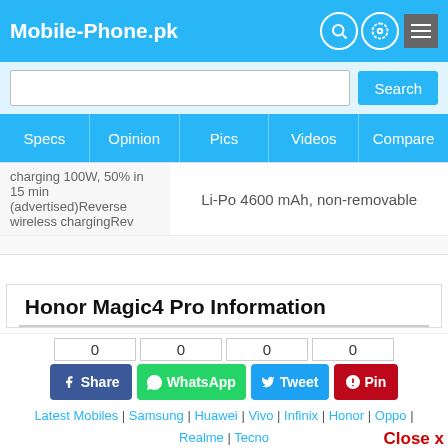Mobile-Phone.pk
| charging 100W, 50% in 15 min (advertised)Reverse wireless chargingRev | Li-Po 4600 mAh, non-removable |
Honor Magic4 Pro Information
Honor is the ex sub brand of Huawei and now it a separate mobile manufacturing company. Honor is a well Known mobile maker that has released a number of mid range and flagship cell phones. The company has launched the Honor Magic 4 Pro. The mobile phone
Latest Mobiles | Samsung | Huawei | Vivo | Infinix | Honor | Oppo | Realme | Tecno